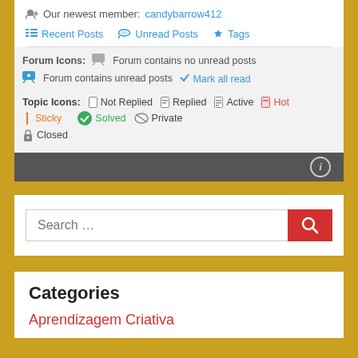Our newest member: candybarrow412
Recent Posts   Unread Posts   Tags
Forum Icons: Forum contains no unread posts
Forum contains unread posts   Mark all read
Topic Icons: Not Replied   Replied   Active   Hot
Sticky   Unapproved   Solved   Private
Closed
Search ...
Categories
Aprendizagem Criativa